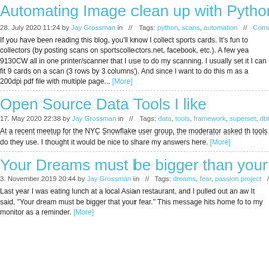Automating Image clean up with Python
28. July 2020 11:24 by Jay Grossman in // Tags: python, scans, automation // Comments
If you have been reading this blog, you'll know I collect sports cards. It's fun to collectors (by posting scans on sportscollectors.net, facebook, etc.). A few yea 9130CW all in one printer/scanner that I use to do my scanning. I usually set it I can fit 9 cards on a scan (3 rows by 3 columns). And since I want to do this m as a 200dpi pdf file with multiple page... [More]
Open Source Data Tools I like
17. May 2020 22:38 by Jay Grossman in // Tags: data, tools, framework, superset, dbt, deb
At a recent meetup for the NYC Snowflake user group, the moderator asked th tools do they use. I thought it would be nice to share my answers here. [More]
Your Dreams must be bigger than your
3. November 2019 20:44 by Jay Grossman in // Tags: dreams, fear, passion project // Co
Last year I was eating lunch at a local Asian restaurant, and I pulled out an aw It said, "Your dream must be bigger that your fear." This message hits home fo to my monitor as a reminder. [More]